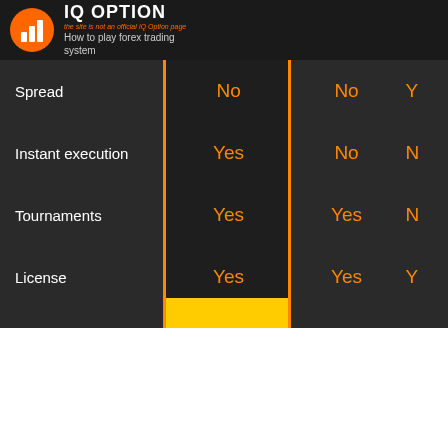IQ OPTION
the site is not an official IQ Option page
How to play forex trading system
|  | Col1 | Col2 | Col3 |
| --- | --- | --- | --- |
| Spread | No | No | Y |
| Instant execution | Yes | No | N |
| Tournaments | Yes | Yes | N |
| License | Yes | Yes | Y |